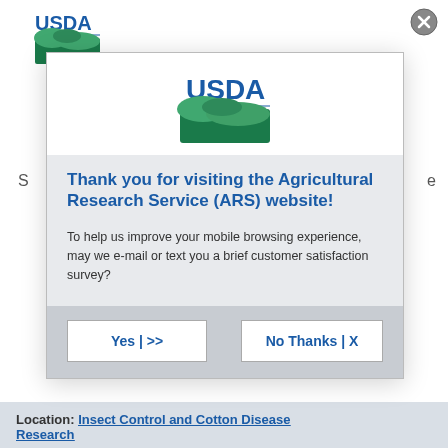[Figure (logo): USDA logo in background top-left corner]
[Figure (logo): USDA logo centered inside modal dialog]
Thank you for visiting the Agricultural Research Service (ARS) website!
To help us improve your mobile browsing experience, may we e-mail or text you a brief customer satisfaction survey?
Yes | >>
No Thanks | X
Location: Insect Control and Cotton Disease Research